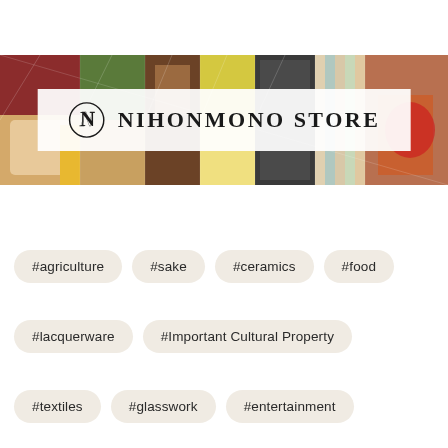[Figure (logo): Nihonmono Store banner with collage of Japanese food, ceramics, textiles, and lacquerware images behind a white overlay with an N logo and the text NIHONMONO STORE]
#agriculture
#sake
#ceramics
#food
#lacquerware
#Important Cultural Property
#textiles
#glasswork
#entertainment